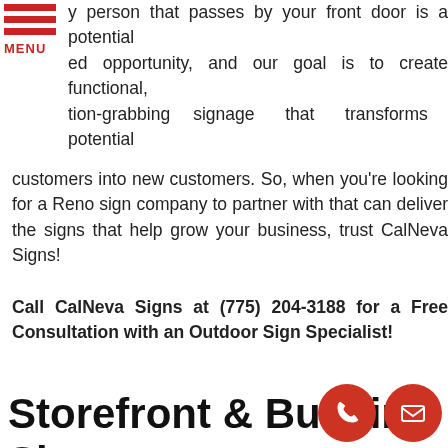[Figure (logo): Red hamburger menu icon with three horizontal red bars and the word MENU in red below them]
y person that passes by your front door is a potential ed opportunity, and our goal is to create functional, tion-grabbing signage that transforms potential customers into new customers. So, when you're looking for a Reno sign company to partner with that can deliver the signs that help grow your business, trust CalNeva Signs!
Call CalNeva Signs at (775) 204-3188 for a Free Consultation with an Outdoor Sign Specialist!
Storefront & Building Signs
[Figure (illustration): Two circular red buttons in the bottom right corner: a phone/handset icon and an envelope/mail icon]